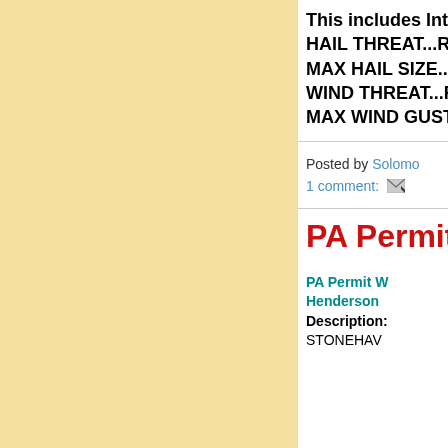This includes Int
HAIL THREAT...R
MAX HAIL SIZE...
WIND THREAT...R
MAX WIND GUST
Posted by Solomo
1 comment:
PA Permit
PA Permit W
Henderson
Description:
STONEHAV